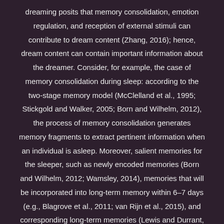dreaming posits that memory consolidation, emotion regulation, and reception of external stimuli can contribute to dream content (Zhang, 2016); hence, dream content can contain important information about the dreamer. Consider, for example, the case of memory consolidation during sleep: according to the two-stage memory model (McClelland et al., 1995; Stickgold and Walker, 2005; Born and Wilhelm, 2012), the process of memory consolidation generates memory fragments to extract pertinent information when an individual is asleep. Moreover, salient memories for the sleeper, such as newly encoded memories (Born and Wilhelm, 2012; Wamsley, 2014), memories that will be incorporated into long-term memory within 6–7 days (e.g., Blagrove et al., 2011; van Rijn et al., 2015), and corresponding long-term memories (Lewis and Durrant, 2011), are preferentially activated and then manifested in dream content. In addition, rapid eye movement (REM)